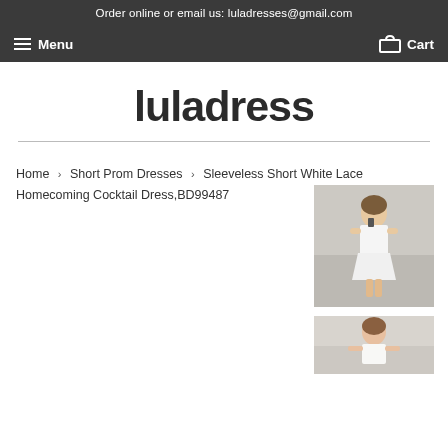Order online or email us: luladresses@gmail.com
Menu  Cart
luladress
Home › Short Prom Dresses › Sleeveless Short White Lace Homecoming Cocktail Dress,BD99487
[Figure (photo): Thumbnail of a woman wearing a short white dress, full body view]
[Figure (photo): Thumbnail of a woman in a white dress, partial view from top]